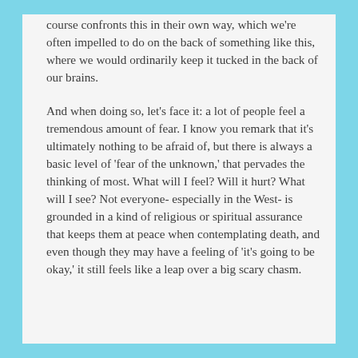course confronts this in their own way, which we're often impelled to do on the back of something like this, where we would ordinarily keep it tucked in the back of our brains.
And when doing so, let's face it: a lot of people feel a tremendous amount of fear. I know you remark that it's ultimately nothing to be afraid of, but there is always a basic level of 'fear of the unknown,' that pervades the thinking of most. What will I feel? Will it hurt? What will I see? Not everyone- especially in the West- is grounded in a kind of religious or spiritual assurance that keeps them at peace when contemplating death, and even though they may have a feeling of 'it's going to be okay,' it still feels like a leap over a big scary chasm.